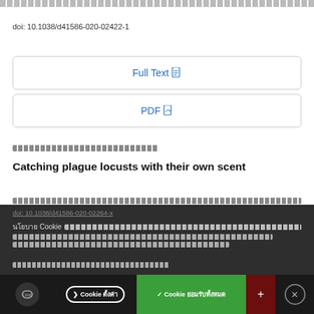[Thai text navigation bar - decorative]
doi: 10.1038/d41586-020-02422-1
Full Text
PDF
[Thai category label]
Catching plague locusts with their own scent
[Thai description text]
doi: 10.1038/d41586-020-02264-x
Cookie [Thai cookie notice text]
❯ Cookie ตั้งค่า
✓ Cookie ยอมรับ